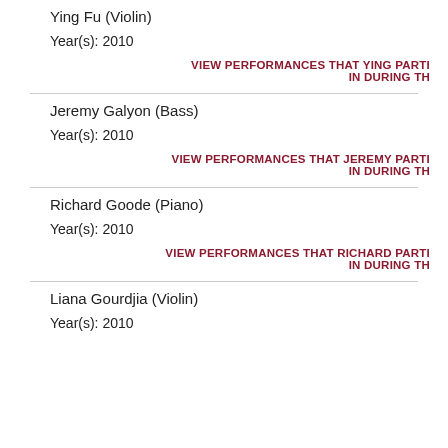Ying Fu (Violin)
Year(s): 2010
VIEW PERFORMANCES THAT YING PARTI IN DURING TH
Jeremy Galyon (Bass)
Year(s): 2010
VIEW PERFORMANCES THAT JEREMY PARTI IN DURING TH
Richard Goode (Piano)
Year(s): 2010
VIEW PERFORMANCES THAT RICHARD PARTI IN DURING TH
Liana Gourdjia (Violin)
Year(s): 2010